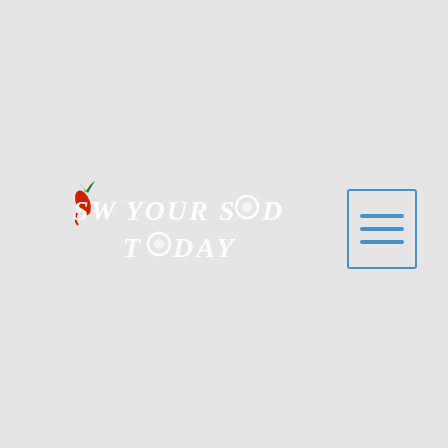[Figure (logo): Sow Your Seed Today logo with stylized white italic text and a red chili pepper icon replacing the letter 'w' in SOW, and a circular symbol replacing one letter in SEED]
[Figure (other): Hamburger menu icon - three horizontal blue lines inside a blue-bordered square button]